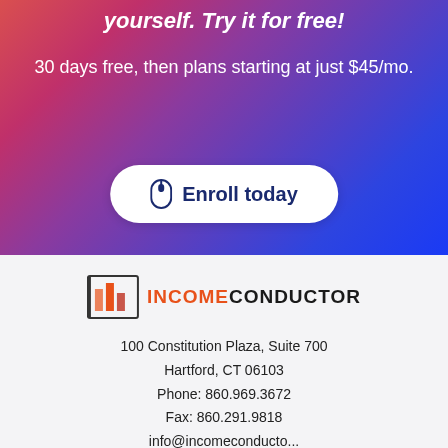30 days free, then plans starting at just $45/mo.
Enroll today
[Figure (logo): Income Conductor logo with orange bar chart icon followed by INCOME in orange bold text and CONDUCTOR in dark/black bold text]
100 Constitution Plaza, Suite 700
Hartford, CT 06103
Phone: 860.969.3672
Fax: 860.291.9818
info@incomeconductor...